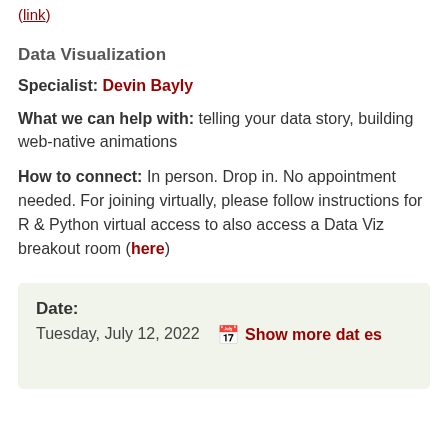(link)
Data Visualization
Specialist: Devin Bayly
What we can help with: telling your data story, building web-native animations
How to connect: In person.  Drop in.  No appointment needed.  For joining virtually, please follow instructions for R & Python virtual access to also access a Data Viz breakout room (here)
Date: Tuesday, July 12, 2022   Show more dates